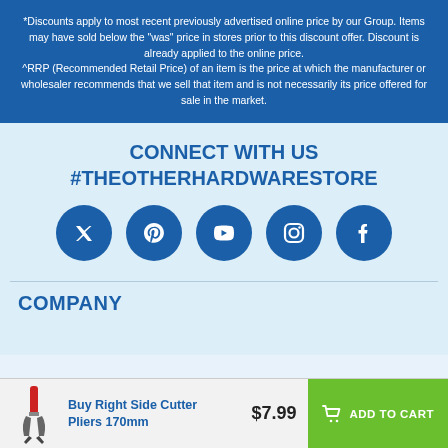*Discounts apply to most recent previously advertised online price by our Group. Items may have sold below the "was" price in stores prior to this discount offer. Discount is already applied to the online price. ^RRP (Recommended Retail Price) of an item is the price at which the manufacturer or wholesaler recommends that we sell that item and is not necessarily its price offered for sale in the market.
CONNECT WITH US
#THEOTHERHARDWARESTORE
[Figure (infographic): Five social media icons (circles): Twitter/X, Pinterest, YouTube, Instagram, Facebook]
COMPANY
Buy Right Side Cutter Pliers 170mm — $7.99 — ADD TO CART